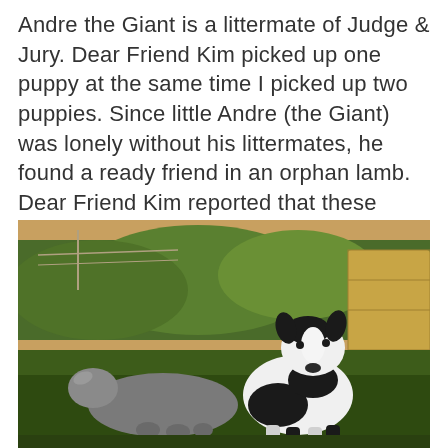Andre the Giant is a littermate of Judge & Jury. Dear Friend Kim picked up one puppy at the same time I picked up two puppies. Since little Andre (the Giant) was lonely without his littermates, he found a ready friend in an orphan lamb. Dear Friend Kim reported that these guys are pasture buddies.
[Figure (photo): Outdoor farm scene showing a black-and-white dog (Great Pyrenees or similar breed) standing next to a grey lamb lying on the ground. Green vegetation and hay bales visible in the background.]